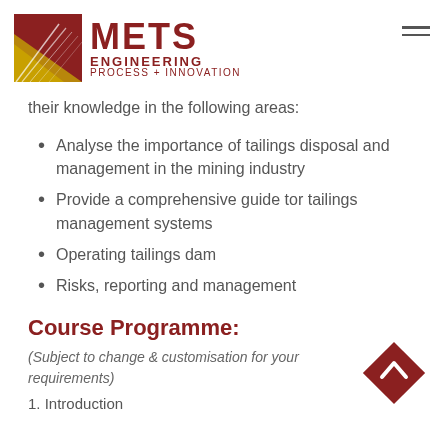[Figure (logo): METS Engineering Process + Innovation logo with geometric square graphic in dark red and gold/yellow]
their knowledge in the following areas:
Analyse the importance of tailings disposal and management in the mining industry
Provide a comprehensive guide tor tailings management systems
Operating tailings dam
Risks, reporting and management
Course Programme:
(Subject to change & customisation for your requirements)
1.  Introduction